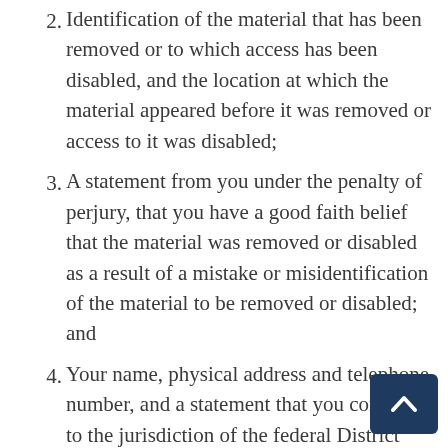2. Identification of the material that has been removed or to which access has been disabled, and the location at which the material appeared before it was removed or access to it was disabled;
3. A statement from you under the penalty of perjury, that you have a good faith belief that the material was removed or disabled as a result of a mistake or misidentification of the material to be removed or disabled; and
4. Your name, physical address and telephone number, and a statement that you consent to the jurisdiction of the federal District Court in the State of Connecticut and that you will accept service of process from the person provided notification of allegedly infringing material or an agent of such person.